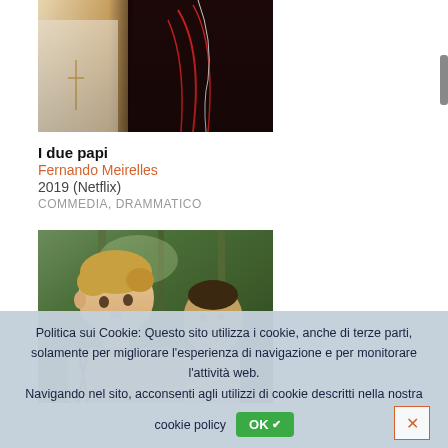[Figure (photo): Two figures in religious attire - one in white, one in dark clothing with red details, cropped screenshot from film]
I due papi
Fernando Meirelles
2019 (Netflix)
COMMEDIA, DRAMMATICO
[Figure (photo): Young boy with curly blond hair looking surprised, man in background, outdoor forest setting - film screenshot]
Politica sui Cookie: Questo sito utilizza i cookie, anche di terze parti, solamente per migliorare l'esperienza di navigazione e per monitorare l'attività web. Navigando nel sito, acconsenti agli utilizzi di cookie descritti nella nostra cookie policy OK✔